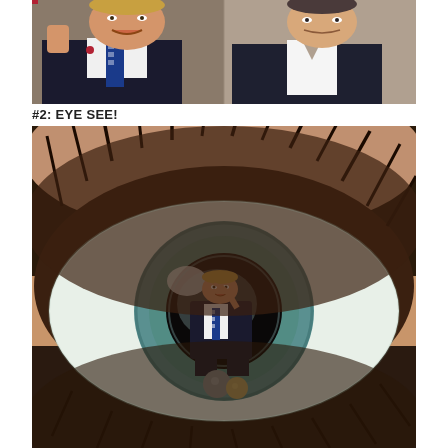[Figure (photo): Two men in suits posing together. The man on the left is heavyset, wearing a dark suit with a blue striped tie and an American flag pin. The man on the right is younger, wearing a white shirt and dark suit jacket. Both are smiling.]
#2: EYE SEE!
[Figure (photo): A composite/art photo of a closeup of a human eye with dramatic dark lashes, with a man in a dark suit and blue striped tie superimposed inside the pupil, pointing a finger gun gesture at his temple.]